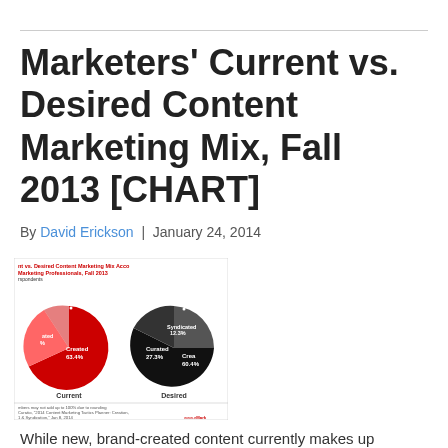Marketers' Current vs. Desired Content Marketing Mix, Fall 2013 [CHART]
By David Erickson | January 24, 2014
[Figure (pie-chart): Two pie charts side by side. Left (Current): Created 63.4%, Curated (partial), Syndicated. Right (Desired): Created 60.4%, Curated 27.3%, Syndicated 12.3%.]
While new, brand-created content currently makes up